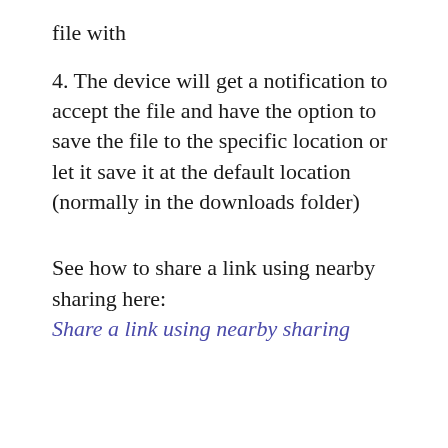file with
4. The device will get a notification to accept the file and have the option to save the file to the specific location or let it save it at the default location (normally in the downloads folder)
See how to share a link using nearby sharing here:
Share a link using nearby sharing